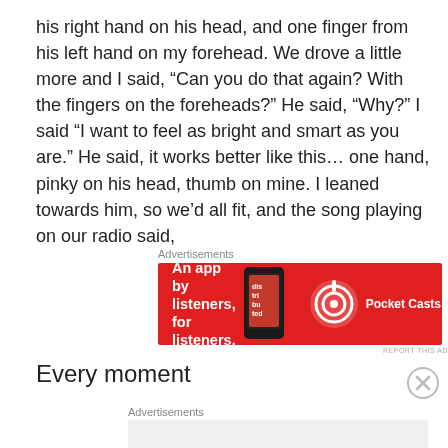his right hand on his head, and one finger from his left hand on my forehead. We drove a little more and I said, “Can you do that again? With the fingers on the foreheads?” He said, “Why?” I said “I want to feel as bright and smart as you are.” He said, it works better like this… one hand, pinky on his head, thumb on mine. I leaned towards him, so we’d all fit, and the song playing on our radio said,
[Figure (other): Pocket Casts advertisement banner: red background with white text 'An app by listeners, for listeners.' and Pocket Casts logo with podcast app icon image]
Every moment
[Figure (other): Second advertisement block area with gray background, partially visible]